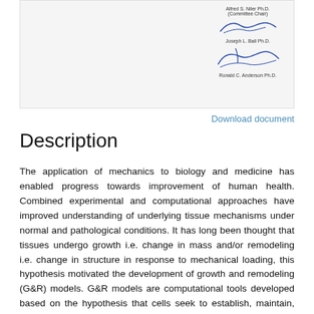[Figure (other): Scanned document page showing signatures including 'Alfred S. Niler Ph.D. (Committee Chair)', 'Joseph L. Ball Ph.D.', and 'Ronald C. Anderson Ph.D.' with handwritten signatures]
Download document
Description
The application of mechanics to biology and medicine has enabled progress towards improvement of human health. Combined experimental and computational approaches have improved understanding of underlying tissue mechanisms under normal and pathological conditions. It has long been thought that tissues undergo growth i.e. change in mass and/or remodeling i.e. change in structure in response to mechanical loading, this hypothesis motivated the development of growth and remodeling (G&R) models. G&R models are computational tools developed based on the hypothesis that cells seek to establish, maintain, and restore